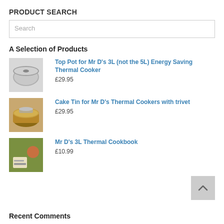PRODUCT SEARCH
Search
A Selection of Products
[Figure (photo): Silver cooking pot with lid]
Top Pot for Mr D's 3L (not the 5L) Energy Saving Thermal Cooker
£29.95
[Figure (photo): Cake tin with copper finish and lid]
Cake Tin for Mr D's Thermal Cookers with trivet
£29.95
[Figure (photo): Cookbook cover with food items]
Mr D's 3L Thermal Cookbook
£10.99
Recent Comments